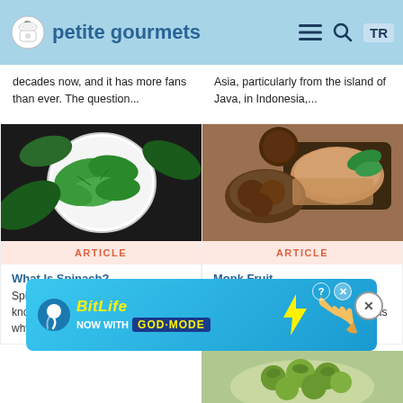petite gourmets
decades now, and it has more fans than ever. The question...
Asia, particularly from the island of Java, in Indonesia,...
[Figure (photo): Bowl of fresh green spinach leaves on dark background]
ARTICLE
[Figure (photo): Monk fruit (luo han guo) with brown sugar and mint leaves]
ARTICLE
What Is Spinach?
Spinach is super healthy; we all know that. But how healthy is it? And why is it good for you?...
Monk Fruit
Monk fruit is well and truly coming into its own in the recent past. It was first used by Buddhist...
[Figure (photo): Advertisement banner: BitLife - Now with God Mode]
[Figure (photo): Partial image of Brussels sprouts at bottom right]